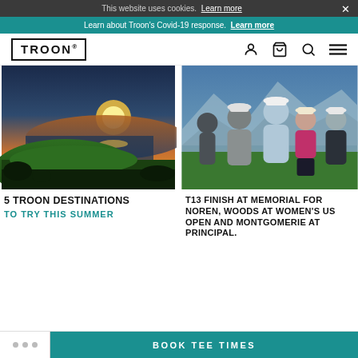This website uses cookies. Learn more
Learn about Troon's Covid-19 response. Learn more
TROON® (logo with navigation icons: user, cart, search, menu)
[Figure (photo): Aerial view of a golf course at sunset with a body of water and mountains in the background]
[Figure (photo): Group of five golfers (four men and one woman in pink) posing together with mountains behind them]
5 TROON DESTINATIONS
TO TRY THIS SUMMER
T13 FINISH AT MEMORIAL FOR NOREN, WOODS AT WOMEN'S US OPEN AND MONTGOMERIE AT PRINCIPAL.
BOOK TEE TIMES